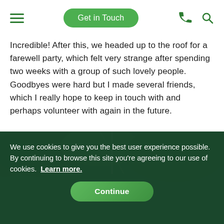Get in Touch
Incredible! After this, we headed up to the roof for a farewell party, which felt very strange after spending two weeks with a group of such lovely people. Goodbyes were hard but I made several friends, which I really hope to keep in touch with and perhaps volunteer with again in the future.
Overall, my trip was an unforgettable experience, and inspired me and, I think, everybody in our team to volunteer again in the future.
[Figure (photo): Aerial view of green forested area with a road/path visible, used as background image behind cookie consent notice]
We use cookies to give you the best user experience possible. By continuing to browse this site you're agreeing to our use of cookies.  Learn more.